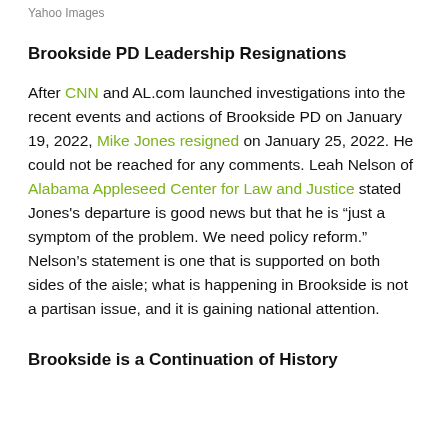Yahoo Images
Brookside PD Leadership Resignations
After CNN and AL.com launched investigations into the recent events and actions of Brookside PD on January 19, 2022, Mike Jones resigned on January 25, 2022. He could not be reached for any comments. Leah Nelson of Alabama Appleseed Center for Law and Justice stated Jones's departure is good news but that he is “just a symptom of the problem. We need policy reform.” Nelson’s statement is one that is supported on both sides of the aisle; what is happening in Brookside is not a partisan issue, and it is gaining national attention.
Brookside is a Continuation of History